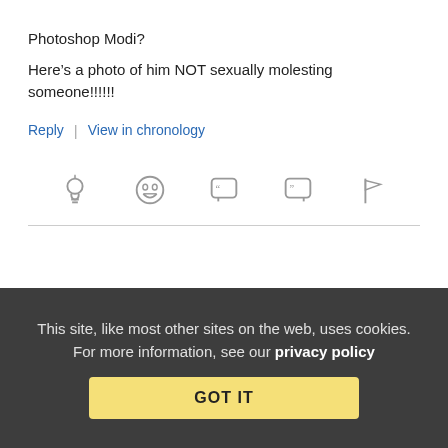Photoshop Modi?
Here’s a photo of him NOT sexually molesting someone!!!!!!
Reply | View in chronology
[Figure (other): Row of five icon buttons: lightbulb, laughing emoji, open-quote speech bubble, close-quote speech bubble, flag]
restless94110 (profile) October 17, 2020 at 2:53 pm
Equivalency
This site, like most other sites on the web, uses cookies. For more information, see our privacy policy
GOT IT